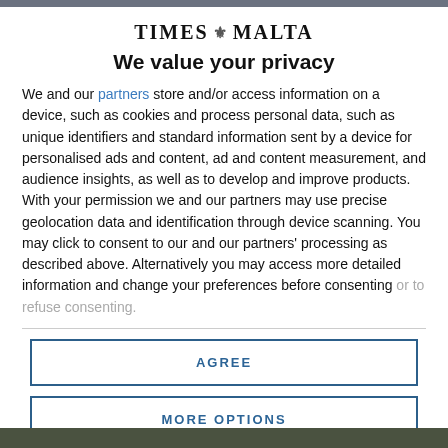[Figure (logo): Times of Malta logo with crest icon between TIMES and MALTA text]
We value your privacy
We and our partners store and/or access information on a device, such as cookies and process personal data, such as unique identifiers and standard information sent by a device for personalised ads and content, ad and content measurement, and audience insights, as well as to develop and improve products. With your permission we and our partners may use precise geolocation data and identification through device scanning. You may click to consent to our and our partners' processing as described above. Alternatively you may access more detailed information and change your preferences before consenting or to refuse consenting.
AGREE
MORE OPTIONS